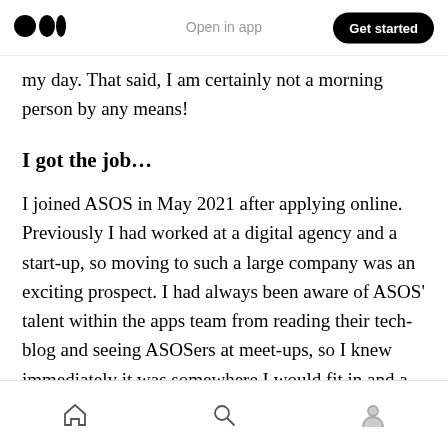Open in app | Get started
my day. That said, I am certainly not a morning person by any means!
I got the job…
I joined ASOS in May 2021 after applying online. Previously I had worked at a digital agency and a start-up, so moving to such a large company was an exciting prospect. I had always been aware of ASOS' talent within the apps team from reading their tech-blog and seeing ASOSers at meet-ups, so I knew immediately it was somewhere I would fit in and a place where everyone shares my
Home | Search | Profile